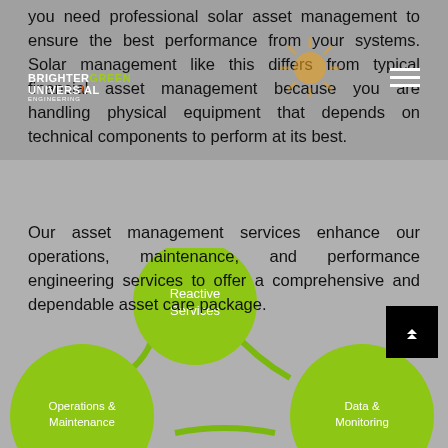you need professional solar asset management to ensure the best performance from your systems. Solar management like this differs from typical financial asset management because you are handling physical equipment that depends on technical components to perform at its best.
Our asset management services enhance our operations, maintenance, and performance engineering services to offer a comprehensive and dependable asset care package.
[Figure (infographic): Three large green circles arranged in a triangle: top center 'Reactive Services', bottom left 'Operations & Maintenance', bottom right 'Data & Monitoring'. Circles are connected with curved lines.]